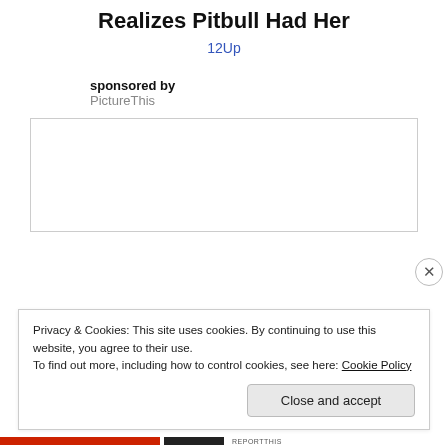Realizes Pitbull Had Her
12Up
sponsored by
PictureThis
[Figure (other): Advertisement box placeholder (empty white box with border)]
Privacy & Cookies: This site uses cookies. By continuing to use this website, you agree to their use.
To find out more, including how to control cookies, see here: Cookie Policy
Close and accept